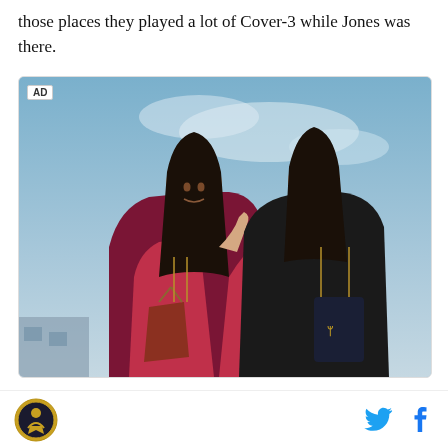those places they played a lot of Cover-3 while Jones was there.
[Figure (photo): Advertisement photo showing two women in athletic wear, one whispering to the other, both holding handbags, against a blue sky background. AD label in top left corner.]
Footer with circular logo on the left and Twitter and Facebook social media icons on the right